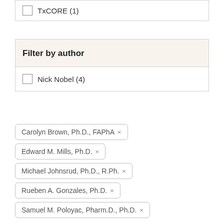TxCORE (1)
Filter by author
Nick Nobel (4)
Carolyn Brown, Ph.D., FAPhA ×
Edward M. Mills, Ph.D. ×
Michael Johnsrud, Ph.D., R.Ph. ×
Rueben A. Gonzales, Ph.D. ×
Samuel M. Poloyac, Pharm.D., Ph.D. ×